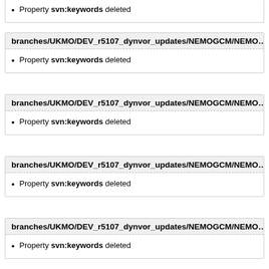Property svn:keywords deleted
branches/UKMO/DEV_r5107_dynvor_updates/NEMOGCM/NEMO…
Property svn:keywords deleted
branches/UKMO/DEV_r5107_dynvor_updates/NEMOGCM/NEMO…
Property svn:keywords deleted
branches/UKMO/DEV_r5107_dynvor_updates/NEMOGCM/NEMO…
Property svn:keywords deleted
branches/UKMO/DEV_r5107_dynvor_updates/NEMOGCM/NEMO…
Property svn:keywords deleted